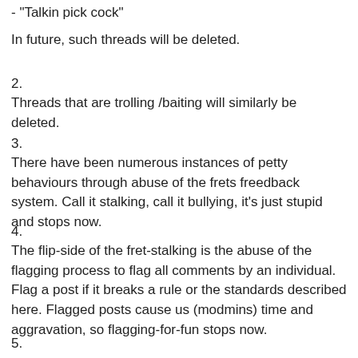- "Talkin pick cock"
In future, such threads will be deleted.
2.
Threads that are trolling /baiting will similarly be deleted.
3.
There have been numerous instances of petty behaviours through abuse of the frets freedback system.  Call it stalking, call it bullying, it's just stupid and stops now.
4.
The flip-side of the fret-stalking is the abuse of the flagging process to flag all comments by an individual.  Flag a post if it breaks a rule or the standards described here.  Flagged posts cause us (modmins) time and aggravation, so flagging-for-fun stops now.
5.